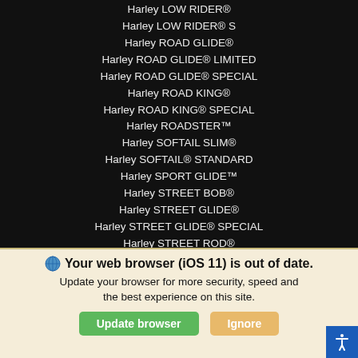Harley LOW RIDER®
Harley LOW RIDER® S
Harley ROAD GLIDE®
Harley ROAD GLIDE® LIMITED
Harley ROAD GLIDE® SPECIAL
Harley ROAD KING®
Harley ROAD KING® SPECIAL
Harley ROADSTER™
Harley SOFTAIL SLIM®
Harley SOFTAIL® STANDARD
Harley SPORT GLIDE™
Harley STREET BOB®
Harley STREET GLIDE®
Harley STREET GLIDE® SPECIAL
Harley STREET ROD®
Harley STREET® 500
Harley STREET® 750
Harley TRI GLIDE® ULTRA
🌐 Your web browser (iOS 11) is out of date. Update your browser for more security, speed and the best experience on this site.
Update browser | Ignore